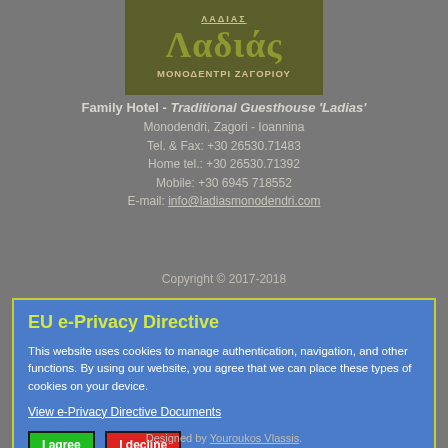[Figure (logo): Hotel Ladias logo with Greek text 'Λαδιάς' and subtitle 'ΜΟΝΟΔΕΝΤΡΙ ΖΑΓΟΡΙΟΥ' on olive/dark background]
Family Hotel - Traditional Guesthouse 'Ladias'
Monodendri, Zagori - Ioannina
Tel. & Fax: +30 26530.71483
Home tel.: +30 26530.71392
Mobile: +30 6945 718552
E-mail: info@ladiasmonodendri.com
Copyright © 2017-2018
EU e-Privacy Directive
This website uses cookies to manage authentication, navigation, and other functions. By using our website, you agree that we can place these types of cookies on your device.
View e-Privacy Directive Documents
I agree   I decline
Designed by Youroukos Vlassis.